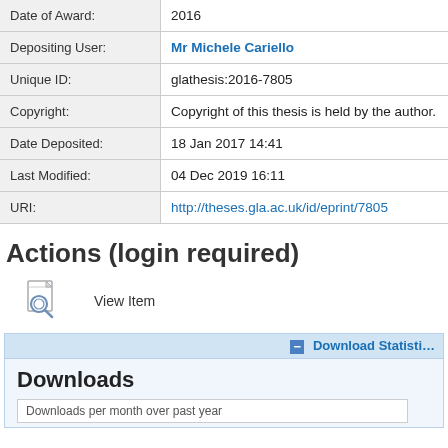| Field | Value |
| --- | --- |
| Date of Award: | 2016 |
| Depositing User: | Mr Michele Cariello |
| Unique ID: | glathesis:2016-7805 |
| Copyright: | Copyright of this thesis is held by the author. |
| Date Deposited: | 18 Jan 2017 14:41 |
| Last Modified: | 04 Dec 2019 16:11 |
| URI: | http://theses.gla.ac.uk/id/eprint/7805 |
Actions (login required)
View Item
Download Statistics
Downloads
Downloads per month over past year